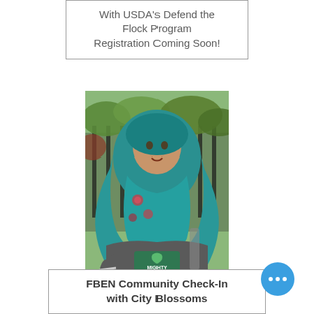With USDA's Defend the Flock Program Registration Coming Soon!
[Figure (photo): A young woman wearing a teal hijab/headscarf and a gray 'Mighty Greens' t-shirt, standing outdoors in front of a fence with green foliage in the background.]
FBEN Community Check-In with City Blossoms